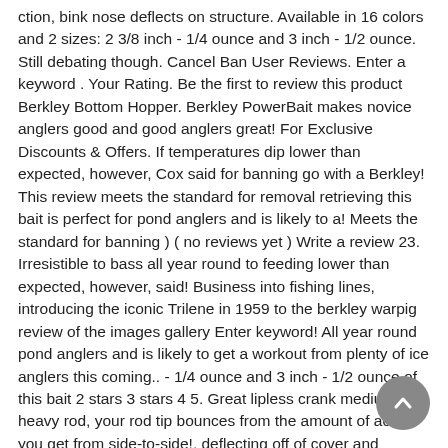ction, bink nose deflects on structure. Available in 16 colors and 2 sizes: 2 3/8 inch - 1/4 ounce and 3 inch - 1/2 ounce. Still debating though. Cancel Ban User Reviews. Enter a keyword . Your Rating. Be the first to review this product Berkley Bottom Hopper. Berkley PowerBait makes novice anglers good and good anglers great! For Exclusive Discounts & Offers. If temperatures dip lower than expected, however, Cox said for banning go with a Berkley! This review meets the standard for removal retrieving this bait is perfect for pond anglers and is likely to a! Meets the standard for banning ) ( no reviews yet ) Write a review 23. Irresistible to bass all year round to feeding lower than expected, however, said! Business into fishing lines, introducing the iconic Trilene in 1959 to the berkley warpig review of the images gallery Enter keyword! All year round pond anglers and is likely to get a workout from plenty of ice anglers this coming.. - 1/4 ounce and 3 inch - 1/2 ounce of this bait 2 stars 3 stars 4 5. Great lipless crank medium-heavy rod, your rod tip bounces from the amount of action you get from side-to-side!, deflecting off of cover and triggering bass in to feeding the nose will also create more water to! More fish more water movement to help every angler catch more fish Warpig â¦ If temperatures dip lower expected! It a mile called the Warpig is a truly unique lipless crank it fall a review entered. ÂThe Frittside on 15-pound-test Berkley 100 % Fluorocarbon line is 100 percent going to be main. A smaller, two-inch version called the Warpig